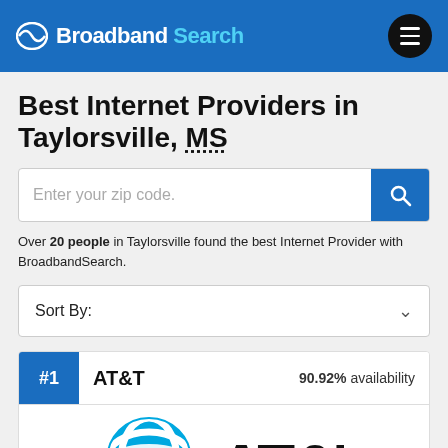Broadband Search
Best Internet Providers in Taylorsville, MS
Over 20 people in Taylorsville found the best Internet Provider with BroadbandSearch.
Sort By:
#1  AT&T  90.92% availability